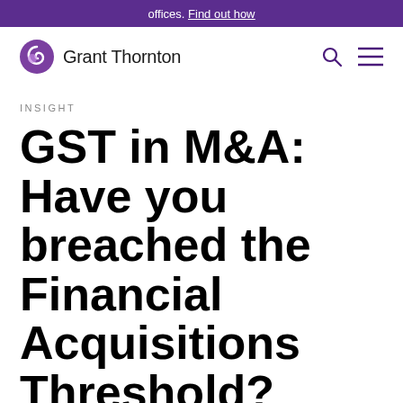offices. Find out how
[Figure (logo): Grant Thornton logo with purple circular icon and wordmark]
INSIGHT
GST in M&A: Have you breached the Financial Acquisitions Threshold?